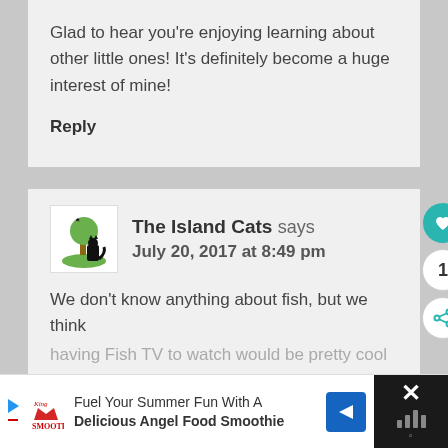Glad to hear you're enjoying learning about other little ones! It's definitely become a huge interest of mine!
Reply
The Island Cats says July 20, 2017 at 8:49 pm
We don't know anything about fish, but we think having Fish TV to watch would be pretty cool
Fuel Your Summer Fun With A Delicious Angel Food Smoothie